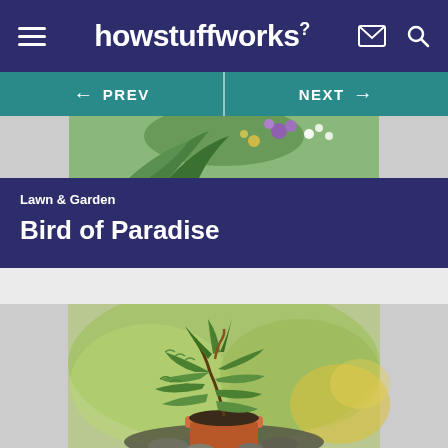howstuffworks
[Figure (screenshot): Navigation bar with PREV and NEXT buttons on teal background]
[Figure (photo): Partial top image showing flowers and plants]
Lawn & Garden
Bird of Paradise
[Figure (photo): Fern plant in a terracotta pot outdoors on rocks with green bokeh background]
Get the HowStuffWorks Newsletter!
Sign Up